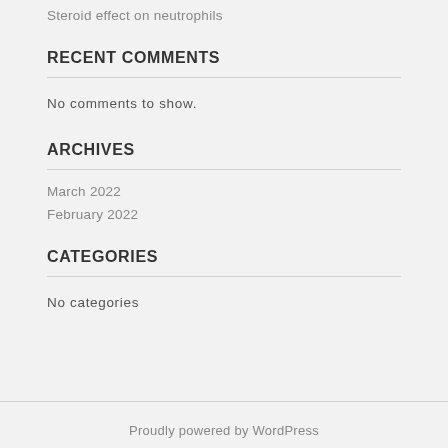Steroid effect on neutrophils
RECENT COMMENTS
No comments to show.
ARCHIVES
March 2022
February 2022
CATEGORIES
No categories
Proudly powered by WordPress